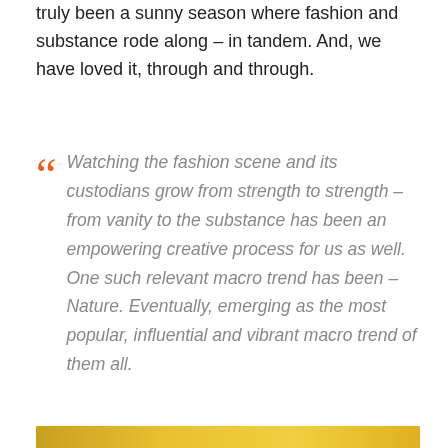truly been a sunny season where fashion and substance rode along – in tandem. And, we have loved it, through and through.
Watching the fashion scene and its custodians grow from strength to strength – from vanity to the substance has been an empowering creative process for us as well. One such relevant macro trend has been – Nature. Eventually, emerging as the most popular, influential and vibrant macro trend of them all.
[Figure (photo): A narrow horizontal decorative image bar at the bottom of the page, showing a golden/yellow gradient texture.]